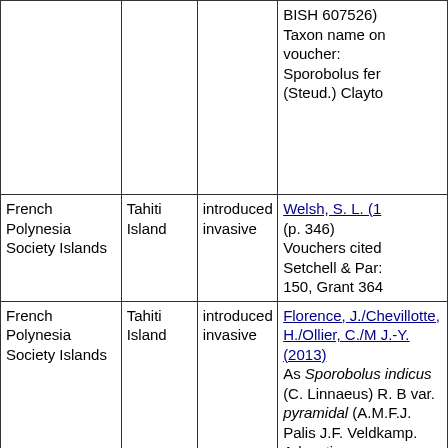| Location | Island | Status | Reference |
| --- | --- | --- | --- |
|  |  |  | BISH 607526)
Taxon name on voucher:
Sporobolus fer
(Steud.) Clayto |
| French Polynesia Society Islands | Tahiti Island | introduced invasive | Welsh, S. L. (1
(p. 346)
Vouchers cited
Setchell & Par:
150, Grant 364 |
| French Polynesia Society Islands | Tahiti Island | introduced invasive | Florence, J./Chevillotte, H./Ollier, C./M J.-Y. (2013)
As Sporobolus indicus (C. Linnaeus) R. B var. pyramidal (A.M.F.J. Palis J.F. Veldkamp. Adventice |
| French Polynesia Society Islands | Tahiti Island |  | Bishop Museum (Honolulu) (19
(voucher ID: |